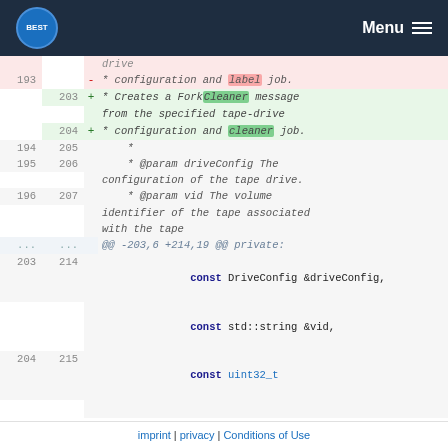BEST Menu
[Figure (screenshot): Code diff view showing changes to a ForkCleaner message constructor. Lines 193 (old) and 203-204 (new) show comment changes from 'label' to 'cleaner'. Lines 194-196/205-207 show @param documentation. Lines 203-204/214-215 show constructor parameters including DriveConfig, vid, and uint32_t driveReadyDelayInSeconds. Lines 217-218 are new additions starting a ForkProbe message constructor.]
imprint | privacy | Conditions of Use